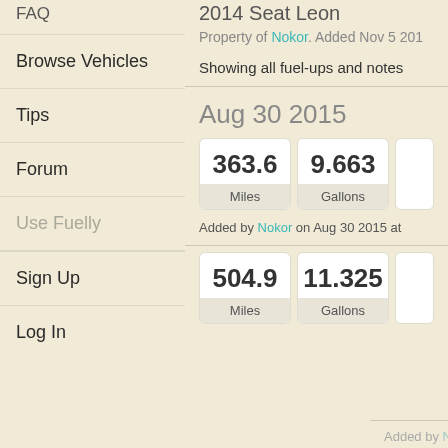FAQ
Browse Vehicles
Tips
Forum
Use Fuelly
Sign Up
Log In
2014 Seat Leon
Property of Nokor. Added Nov 5 201...
Showing all fuel-ups and notes
Aug 30 2015
| Value | Unit |
| --- | --- |
| 363.6 | Miles |
| 9.663 | Gallons |
Added by Nokor on Aug 30 2015 at
| Value | Unit |
| --- | --- |
| 504.9 | Miles |
| 11.325 | Gallons |
Added by Nokor on Aug 30 2015 at